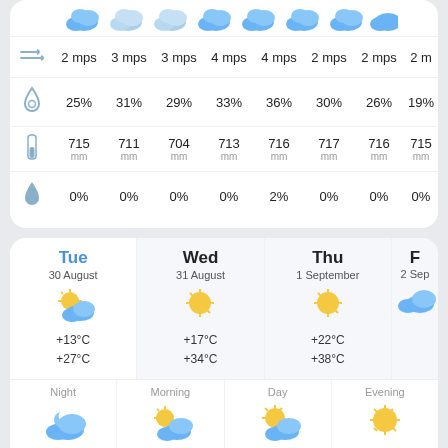[Figure (infographic): Weather forecast top card showing wind speed, humidity percentage, pressure in mm, and precipitation percentage across 8 time slots]
| Icon | Col1 | Col2 | Col3 | Col4 | Col5 | Col6 | Col7 | Col8 |
| --- | --- | --- | --- | --- | --- | --- | --- | --- |
| wind | 2 mps | 3 mps | 3 mps | 4 mps | 4 mps | 2 mps | 2 mps | 2 mps |
| humidity | 25% | 31% | 29% | 33% | 36% | 30% | 26% | 19% |
| pressure | 715 mm | 711 mm | 704 mm | 713 mm | 716 mm | 717 mm | 716 mm | 715 mm |
| precip | 0% | 0% | 0% | 0% | 2% | 0% | 0% | 0% |
[Figure (infographic): Daily weather forecast card showing Tue 30 August (+13C/+27C), Wed 31 August (+17C/+34C), Thu 1 September (+22C/+38C), and partial 2 Sep column]
[Figure (infographic): Detailed time-of-day forecast for Tuesday showing Night +13C, Morning +13C, Day +27C, Evening +28C, each with Feels like label and weather icons]